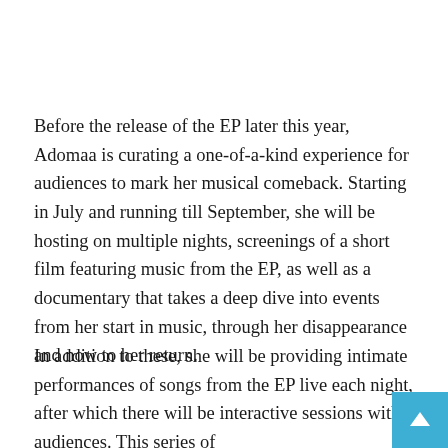Before the release of the EP later this year, Adomaa is curating a one-of-a-kind experience for audiences to mark her musical comeback. Starting in July and running till September, she will be hosting on multiple nights, screenings of a short film featuring music from the EP, as well as a documentary that takes a deep dive into events from her start in music, through her disappearance and now to her return.
In addition to these, she will be providing intimate performances of songs from the EP live each night, after which there will be interactive sessions with audiences. This series of